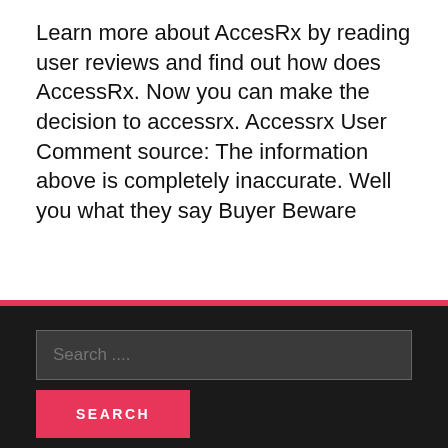Learn more about AccesRx by reading user reviews and find out how does AccessRx. Now you can make the decision to accessrx. Accessrx User Comment source: The information above is completely inaccurate. Well you what they say Buyer Beware
RECENT POSTS